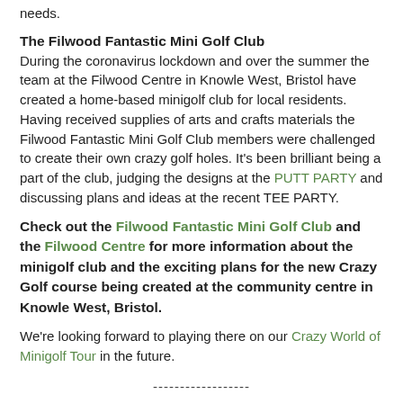needs.
The Filwood Fantastic Mini Golf Club
During the coronavirus lockdown and over the summer the team at the Filwood Centre in Knowle West, Bristol have created a home-based minigolf club for local residents. Having received supplies of arts and crafts materials the Filwood Fantastic Mini Golf Club members were challenged to create their own crazy golf holes. It's been brilliant being a part of the club, judging the designs at the PUTT PARTY and discussing plans and ideas at the recent TEE PARTY.
Check out the Filwood Fantastic Mini Golf Club and the Filwood Centre for more information about the minigolf club and the exciting plans for the new Crazy Golf course being created at the community centre in Knowle West, Bristol.
We're looking forward to playing there on our Crazy World of Minigolf Tour in the future.
------------------